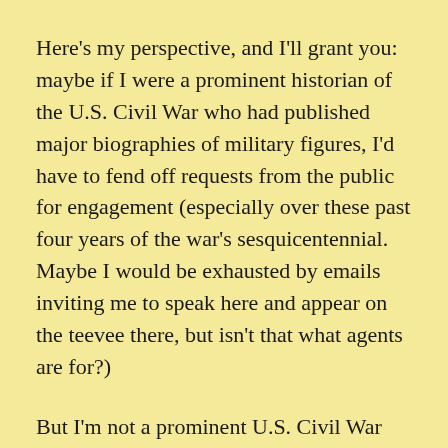Here's my perspective, and I'll grant you: maybe if I were a prominent historian of the U.S. Civil War who had published major biographies of military figures, I'd have to fend off requests from the public for engagement (especially over these past four years of the war's sesquicentennial.  Maybe I would be exhausted by emails inviting me to speak here and appear on the teevee there, but isn't that what agents are for?)
But I'm not a prominent U.S. Civil War historian, and most of us aren't, so why are some of us such jerks about people asking us to share our rather arcane knowledge and expertise?  Are the teeming masses really beating down your doors